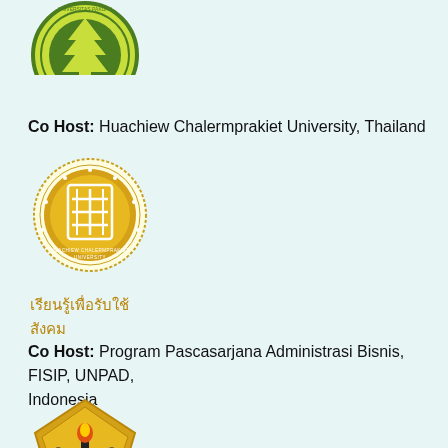[Figure (logo): Universitas Pakuan logo (green and yellow circular emblem) — partially visible at top]
Co Host: Huachiew Chalermprakiet University, Thailand
[Figure (logo): Huachiew Chalermprakiet University circular gold seal logo with Thai script emblem]
เรียนรู้เพื่อรับใช้สังคม
Co Host: Program Pascasarjana Administrasi Bisnis, FISIP, UNPAD, Indonesia
[Figure (logo): UNPAD (Universitas Padjadjaran) logo — golden pentagon-shaped emblem with torch and book]